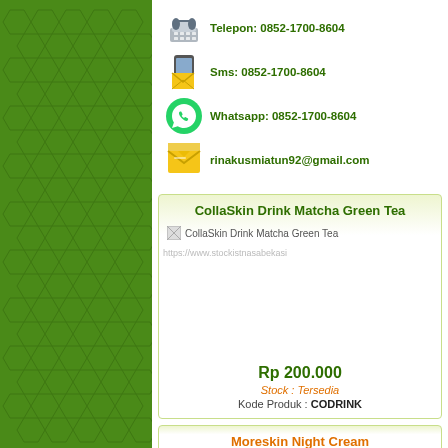Telepon: 0852-1700-8604
Sms: 0852-1700-8604
Whatsapp: 0852-1700-8604
rinakusmiatun92@gmail.com
CollaSkin Drink Matcha Green Tea
[Figure (photo): Broken image placeholder for CollaSkin Drink Matcha Green Tea product]
https://www.stockistnasabekasi
Rp 200.000
Stock : Tersedia
Kode Produk : CODRINK
Moreskin Night Cream
[Figure (photo): Broken image placeholder for Moreskin Night Cream product]